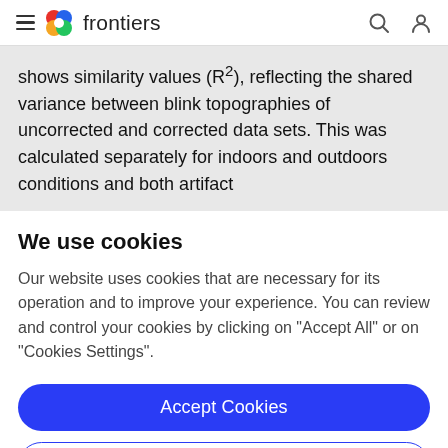frontiers
shows similarity values (R²), reflecting the shared variance between blink topographies of uncorrected and corrected data sets. This was calculated separately for indoors and outdoors conditions and both artifact
We use cookies
Our website uses cookies that are necessary for its operation and to improve your experience. You can review and control your cookies by clicking on "Accept All" or on "Cookies Settings".
Accept Cookies
Cookies Settings